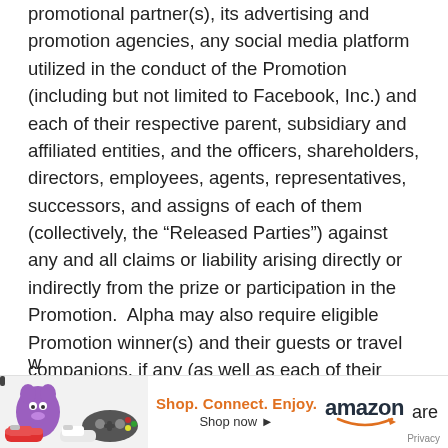promotional partner(s), its advertising and promotion agencies, any social media platform utilized in the conduct of the Promotion (including but not limited to Facebook, Inc.) and each of their respective parent, subsidiary and affiliated entities, and the officers, shareholders, directors, employees, agents, representatives, successors, and assigns of each of them (collectively, the “Released Parties”) against any and all claims or liability arising directly or indirectly from the prize or participation in the Promotion.  Alpha may also require eligible Promotion winner(s) and their guests or travel companions, if any (as well as each of their parent(s) or legal guardian(s), if w are u
[Figure (other): Amazon advertisement banner with product images (purple creature toy, red sneakers, game controller), tagline 'Shop. Connect. Enjoy.', 'Shop now' link, Amazon logo with smile, and 'Privacy' label.]